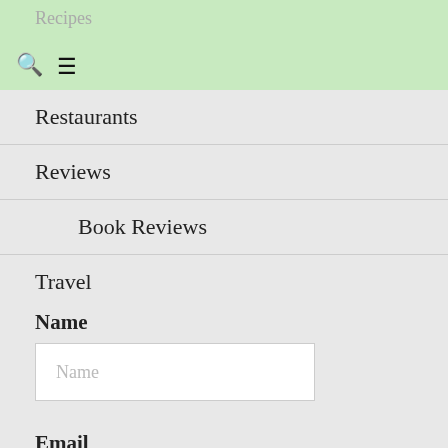Recipes
Restaurants
Reviews
Book Reviews
Travel
Name
Name (placeholder)
Email
Email (placeholder)